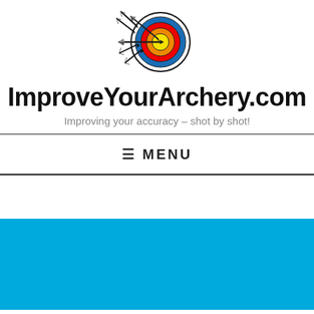[Figure (logo): Archery target logo with arrows hitting bullseye, surrounded by feathered arrow silhouettes]
ImproveYourArchery.com
Improving your accuracy – shot by shot!
≡ MENU
[Figure (other): Solid light blue banner/rectangle filling the lower middle section of the page]